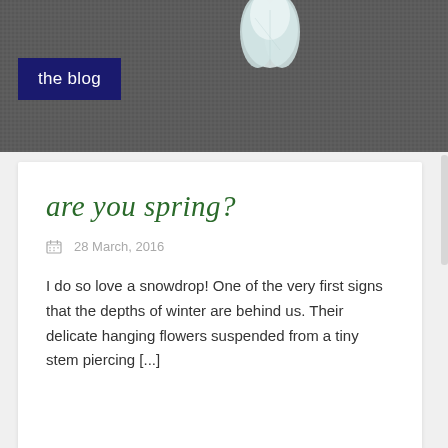[Figure (photo): Top banner photo showing a white snowdrop flower against a dark grey/brown textured background, with a dark navy blue label overlay reading 'the blog']
the blog
are you spring?
28 March, 2016
I do so love a snowdrop! One of the very first signs that the depths of winter are behind us. Their delicate hanging flowers suspended from a tiny stem piercing [...]
[Figure (photo): Bottom portion showing an orange/coral dahlia flower with green foliage in the background]